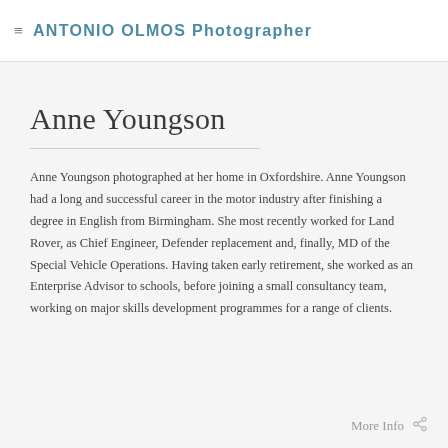ANTONIO OLMOS Photographer
Anne Youngson
Anne Youngson photographed at her home in Oxfordshire. Anne Youngson had a long and successful career in the motor industry after finishing a degree in English from Birmingham. She most recently worked for Land Rover, as Chief Engineer, Defender replacement and, finally, MD of the Special Vehicle Operations. Having taken early retirement, she worked as an Enterprise Advisor to schools, before joining a small consultancy team, working on major skills development programmes for a range of clients.
More Info